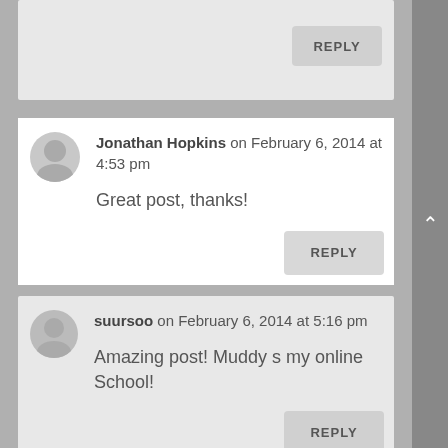REPLY (top, partial comment)
Jonathan Hopkins on February 6, 2014 at 4:53 pm
Great post, thanks!
REPLY
suursoo on February 6, 2014 at 5:16 pm
Amazing post! Muddy s my online School!
REPLY